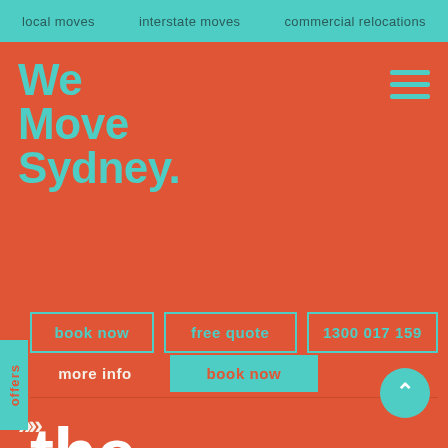local moves    interstate moves    commercial relocations
We Move Sydney.
book now    free quote    1300 017 159
more info    book now
offers
the all rounder
suitable for 2 bedroom